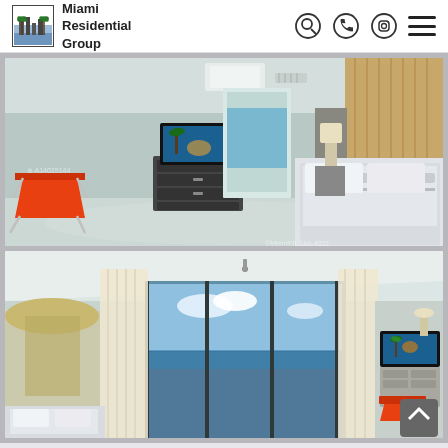Miami Residential Group
[Figure (photo): Modern luxury bedroom with orange accent chair, large TV on dresser, king bed with white linens, and wooden accent wall panel. Light gray walls and carpet with ocean view through hallway.]
[Figure (photo): Luxury bedroom interior with floor-to-ceiling sliding glass doors showing ocean view, sheer white curtains, TV on dresser with orange chair, and modern lamp.]